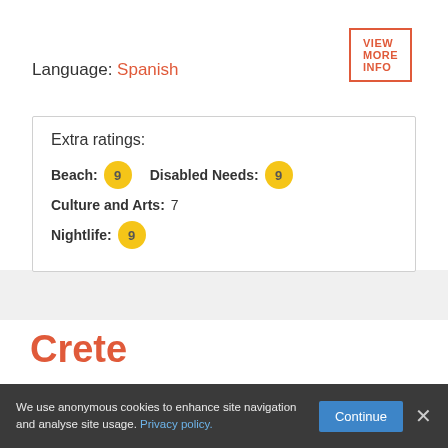VIEW MORE INFO
Language: Spanish
Extra ratings:
Beach : 9   Disabled Needs : 9   Culture and Arts : 7   Nightlife : 9
Crete
Holidays
in Crete
We use anonymous cookies to enhance site navigation and analyse site usage. Privacy policy.